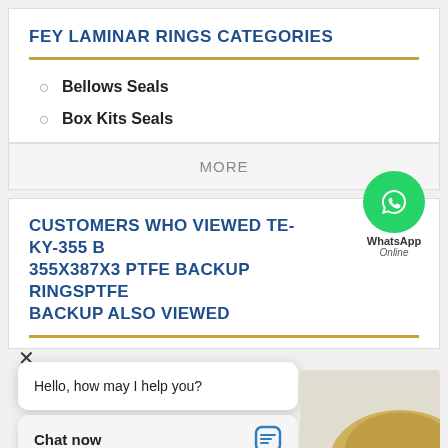FEY LAMINAR RINGS CATEGORIES
Bellows Seals
Box Kits Seals
MORE
CUSTOMERS WHO VIEWED TE-KY-355 B 355X387X3 PTFE BACKUP RINGSPTFE BACKUP ALSO VIEWED
[Figure (screenshot): WhatsApp Online chat widget with green circle phone icon, WhatsApp label, and Online status]
Hello, how may I help you?
Chat now